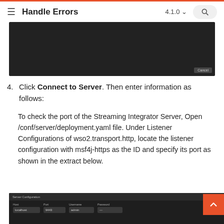Handle Errors  4.1.0
[Figure (screenshot): Dark UI screenshot showing a dialog or panel with a Cancel button in the bottom right corner]
4. Click Connect to Server. Then enter information as follows:
To check the port of the Streaming Integrator Server, Open /conf/server/deployment.yaml file. Under Listener Configurations of wso2.transport.http, locate the listener configuration with msf4j-https as the ID and specify its port as shown in the extract below.
[Figure (screenshot): Server Configuration dialog showing fields for Host (localhost), Port (9443), Username (admin), Password]